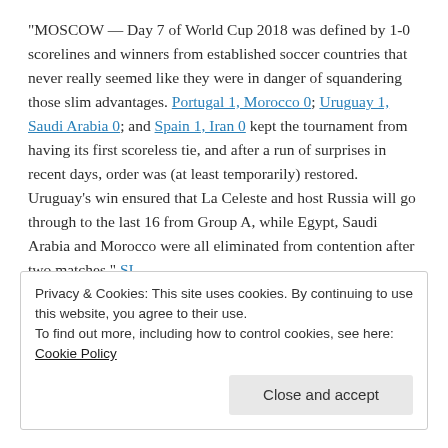“MOSCOW — Day 7 of World Cup 2018 was defined by 1-0 scorelines and winners from established soccer countries that never really seemed like they were in danger of squandering those slim advantages. Portugal 1, Morocco 0; Uruguay 1, Saudi Arabia 0; and Spain 1, Iran 0 kept the tournament from having its first scoreless tie, and after a run of surprises in recent days, order was (at least temporarily) restored. Uruguay’s win ensured that La Celeste and host Russia will go through to the last 16 from Group A, while Egypt, Saudi Arabia and Morocco were all eliminated from contention after two matches.” SI
Privacy & Cookies: This site uses cookies. By continuing to use this website, you agree to their use. To find out more, including how to control cookies, see here: Cookie Policy